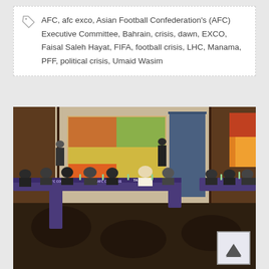AFC, afc exco, Asian Football Confederation's (AFC) Executive Committee, Bahrain, crisis, dawn, EXCO, Faisal Saleh Hayat, FIFA, football crisis, LHC, Manama, PFF, political crisis, Umaid Wasim
[Figure (photo): A formal meeting room with people seated around a large U-shaped conference table. A banner reading 'AFC CONGRESS' is visible on the table front. People in suits and traditional attire are seated. A colorful abstract painting hangs on the wall in the background.]